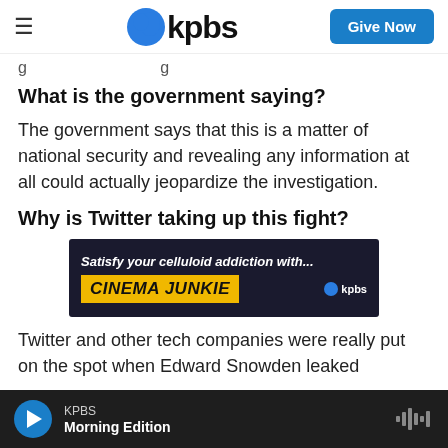kpbs — Give Now
g
What is the government saying?
The government says that this is a matter of national security and revealing any information at all could actually jeopardize the investigation.
Why is Twitter taking up this fight?
[Figure (other): KPBS Cinema Junkie advertisement banner: 'Satisfy your celluloid addiction with... CINEMA JUNKIE' with KPBS logo on dark background]
Twitter and other tech companies were really put on the spot when Edward Snowden leaked
KPBS — Morning Edition (audio player bar)